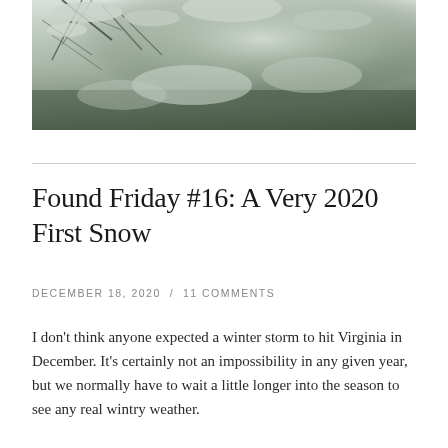[Figure (photo): Close-up photo of snow-covered pine needles with blurred snowy background, in muted grey-green tones]
Found Friday #16: A Very 2020 First Snow
DECEMBER 18, 2020 / 11 COMMENTS
I don't think anyone expected a winter storm to hit Virginia in December. It's certainly not an impossibility in any given year, but we normally have to wait a little longer into the season to see any real wintry weather.